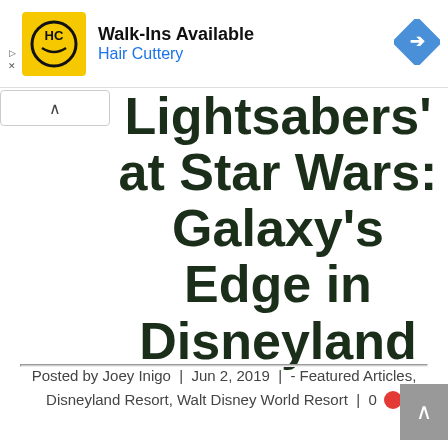[Figure (other): Hair Cuttery advertisement banner with yellow logo, Walk-Ins Available text, and blue navigation arrow icon on the right]
Lightsabers' at Star Wars: Galaxy's Edge in Disneyland
Posted by Joey Inigo | Jun 2, 2019 | - Featured Articles, Disneyland Resort, Walt Disney World Resort | 0